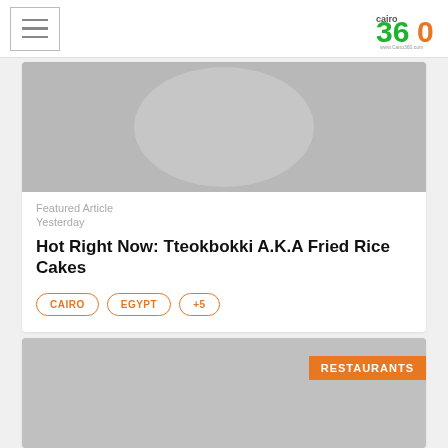Cairo 360 navigation bar with hamburger menu and logo
[Figure (photo): Food photo showing tteokbokki (Korean fried rice cakes) in red sauce with green onions in a white bowl]
Featured Article
Yesterday
Hot Right Now: Tteokbokki A.K.A Fried Rice Cakes
CAIRO
EGYPT
+5
[Figure (photo): Gray placeholder image with RESTAURANTS badge in orange]
RESTAURANTS